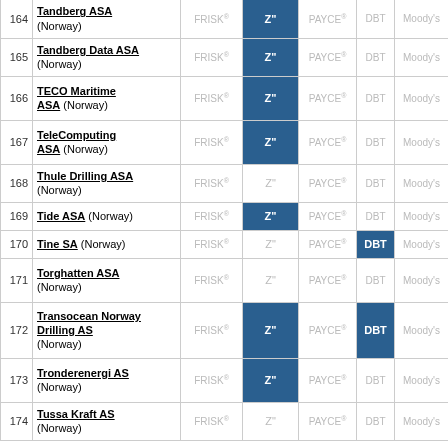| # | Company | FRISK® | Z" | PAYCE® | DBT | Moody's |  |
| --- | --- | --- | --- | --- | --- | --- | --- |
| 164 | Tandberg ASA (Norway) | FRISK® | Z" | PAYCE® | DBT | Moody's | F |
| 165 | Tandberg Data ASA (Norway) | FRISK® | Z" | PAYCE® | DBT | Moody's | F |
| 166 | TECO Maritime ASA (Norway) | FRISK® | Z" | PAYCE® | DBT | Moody's | F |
| 167 | TeleComputing ASA (Norway) | FRISK® | Z" | PAYCE® | DBT | Moody's | F |
| 168 | Thule Drilling ASA (Norway) | FRISK® | Z" | PAYCE® | DBT | Moody's | F |
| 169 | Tide ASA (Norway) | FRISK® | Z" | PAYCE® | DBT | Moody's | F |
| 170 | Tine SA (Norway) | FRISK® | Z" | PAYCE® | DBT | Moody's | F |
| 171 | Torghatten ASA (Norway) | FRISK® | Z" | PAYCE® | DBT | Moody's | F |
| 172 | Transocean Norway Drilling AS (Norway) | FRISK® | Z" | PAYCE® | DBT | Moody's | F |
| 173 | Tronderenergi AS (Norway) | FRISK® | Z" | PAYCE® | DBT | Moody's | F |
| 174 | Tussa Kraft AS (Norway) | FRISK® | Z" | PAYCE® | DBT | Moody's | F |